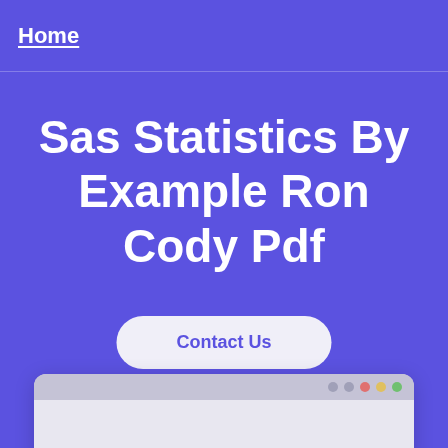Home
Sas Statistics By Example Ron Cody Pdf
Contact Us
[Figure (screenshot): Browser window mockup showing the bottom portion of a webpage, partially visible at the bottom of the page.]